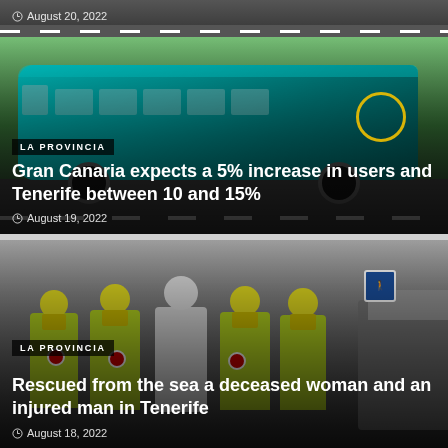August 20, 2022
[Figure (photo): A teal/turquoise public bus on a road with palm trees in the background]
LA PROVINCIA
Gran Canaria expects a 5% increase in users and Tenerife between 10 and 15%
August 19, 2022
[Figure (photo): Emergency rescue workers in yellow high-visibility vests and helmets walking on a street]
LA PROVINCIA
Rescued from the sea a deceased woman and an injured man in Tenerife
August 18, 2022